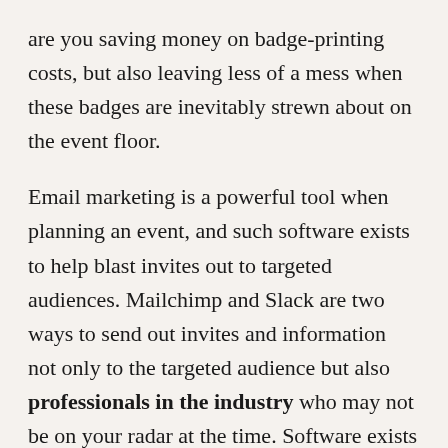are you saving money on badge-printing costs, but also leaving less of a mess when these badges are inevitably strewn about on the event floor.
Email marketing is a powerful tool when planning an event, and such software exists to help blast invites out to targeted audiences. Mailchimp and Slack are two ways to send out invites and information not only to the targeted audience but also professionals in the industry who may not be on your radar at the time. Software exists to bring that data to you, so you're never left in the dark with knowing exactly who is attending. Eventbrite is also a great tool to let people not on your radar